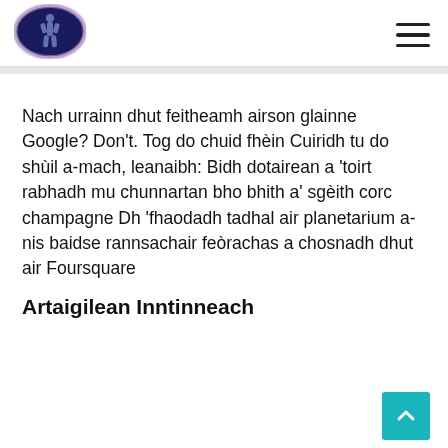[Logo: oval emblem with figure] [Hamburger menu icon]
Nach urrainn dhut feitheamh airson glainne Google? Don't. Tog do chuid fhèin Cuiridh tu do shùil a-mach, leanaibh: Bidh dotairean a 'toirt rabhadh mu chunnartan bho bhith a' sgèith corc champagne Dh 'fhaodadh tadhal air planetarium a-nis baidse rannsachair feòrachas a chosnadh dhut air Foursquare
Artaigilean Inntinneach